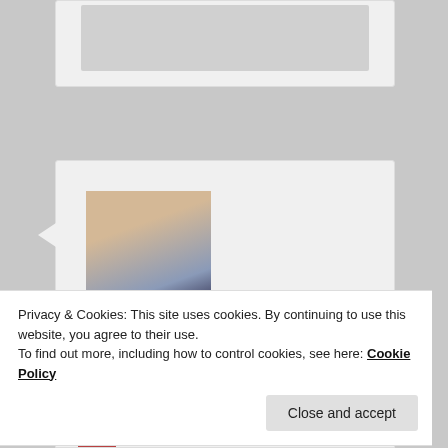[Figure (screenshot): Top portion of a comment card, partially visible at top of page, showing a grey image placeholder.]
[Figure (photo): Profile photo of SaaniaSparkle - a young woman with long blonde/brown hair and glasses, wearing a striped top.]
SaaniaSparkle 🧑 on May 1, 2020 at 1:42 am said:
Nice blog
Privacy & Cookies: This site uses cookies. By continuing to use this website, you agree to their use.
To find out more, including how to control cookies, see here: Cookie Policy
Close and accept
on May 27, 2020 at 1:57 pm said: